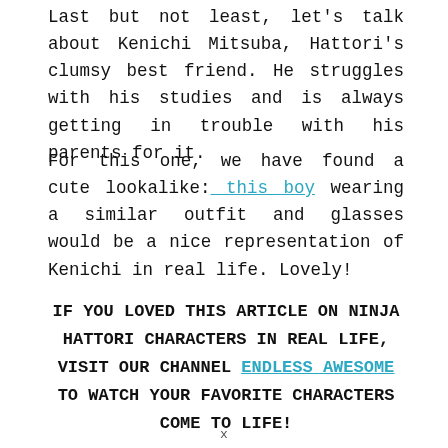Last but not least, let's talk about Kenichi Mitsuba, Hattori's clumsy best friend. He struggles with his studies and is always getting in trouble with his parents for it.
For this one, we have found a cute lookalike: this boy wearing a similar outfit and glasses would be a nice representation of Kenichi in real life. Lovely!
IF YOU LOVED THIS ARTICLE ON NINJA HATTORI CHARACTERS IN REAL LIFE, VISIT OUR CHANNEL ENDLESS AWESOME TO WATCH YOUR FAVORITE CHARACTERS COME TO LIFE!
x